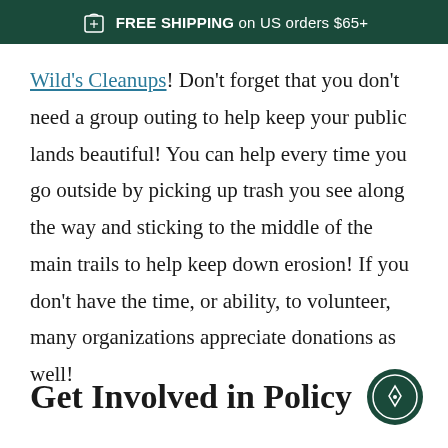FREE SHIPPING on US orders $65+
Wild's Cleanups! Don't forget that you don't need a group outing to help keep your public lands beautiful! You can help every time you go outside by picking up trash you see along the way and sticking to the middle of the main trails to help keep down erosion! If you don't have the time, or ability, to volunteer, many organizations appreciate donations as well!
Get Involved in Policy